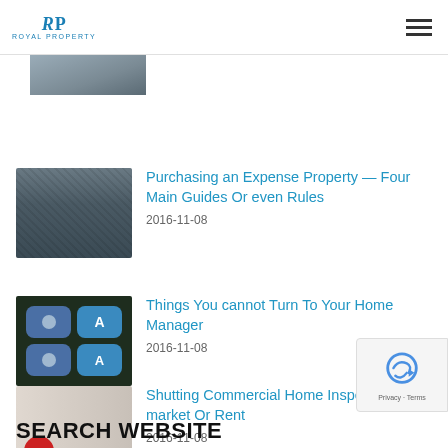RP ROYAL PROPERTY
[Figure (photo): Partial thumbnail image at top, cropped]
Purchasing an Expense Property — Four Main Guides Or even Rules
2016-11-08
[Figure (photo): Phone screen showing iOS app icons including Contacts and App Store]
Things You cannot Turn To Your Home Manager
2016-11-08
[Figure (photo): Two people leaning over a surface, one wearing a red hard hat]
Shutting Commercial Home Inspections to market Or Rent
2016-11-08
[Figure (other): reCAPTCHA badge with Privacy and Terms links]
SEARCH WEBSITE